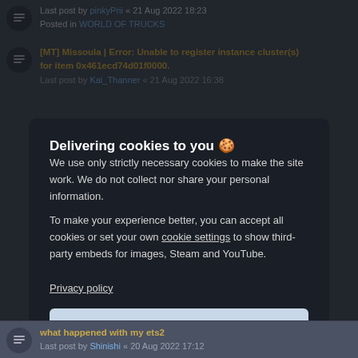Last post by pinkyPrii « 21 Aug 2022 18:23 Posted in WORLD OF TRUCKS
[MT] Missoula | Error: Unable to register instance cluster(s) for item 0x461ecd74d01f0000.
Delivering cookies to you 🍪
We use only strictly necessary cookies to make the site work. We do not collect nor share your personal information.
To make your experience better, you can accept all cookies or set your own cookie settings to show third-party embeds for images, Steam and YouTube.
Privacy policy
Accept all
Reject optional
what happened with my ets2